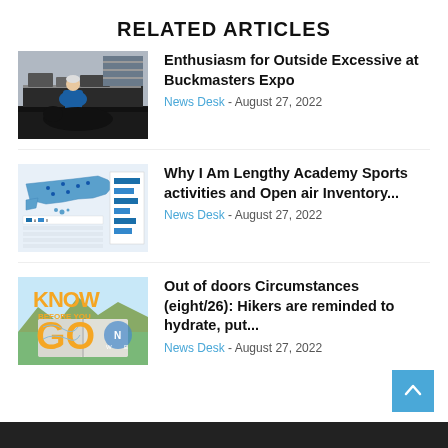RELATED ARTICLES
[Figure (photo): Person sitting on a large black animal at an expo/trade show booth with display tables in background]
Enthusiasm for Outside Excessive at Buckmasters Expo
News Desk - August 27, 2022
[Figure (infographic): Map of United States with blue shading and horizontal bar chart data overlay]
Why I Am Lengthy Academy Sports activities and Open air Inventory...
News Desk - August 27, 2022
[Figure (illustration): Know Before You Go graphic with large orange text on illustrated background]
Out of doors Circumstances (eight/26): Hikers are reminded to hydrate, put...
News Desk - August 27, 2022